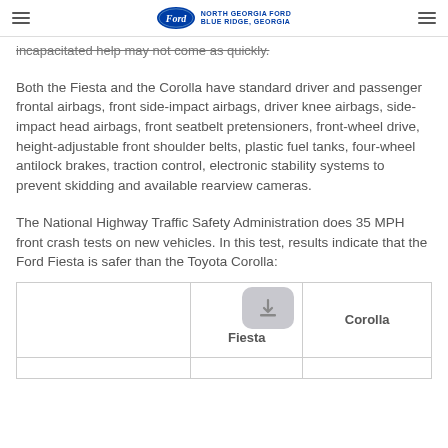North Georgia Ford — Blue Ridge, Georgia
incapacitated help may not come as quickly.
Both the Fiesta and the Corolla have standard driver and passenger frontal airbags, front side-impact airbags, driver knee airbags, side-impact head airbags, front seatbelt pretensioners, front-wheel drive, height-adjustable front shoulder belts, plastic fuel tanks, four-wheel antilock brakes, traction control, electronic stability systems to prevent skidding and available rearview cameras.
The National Highway Traffic Safety Administration does 35 MPH front crash tests on new vehicles. In this test, results indicate that the Ford Fiesta is safer than the Toyota Corolla:
|  | Fiesta | Corolla |
| --- | --- | --- |